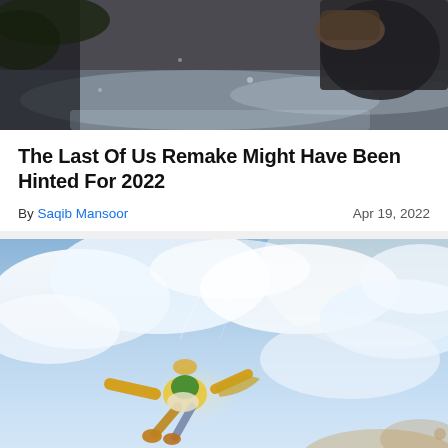[Figure (photo): Dark close-up of a person holding something against a snowy outdoor background, from what appears to be a video game (The Last of Us)]
The Last Of Us Remake Might Have Been Hinted For 2022
By Saqib Mansoor   Apr 19, 2022
[Figure (photo): Video game screenshot of Link from The Legend of Zelda: Breath of the Wild / Tears of the Kingdom gliding through the sky with arms outstretched, golden armor, green tunic, against a bright cloudy sky]